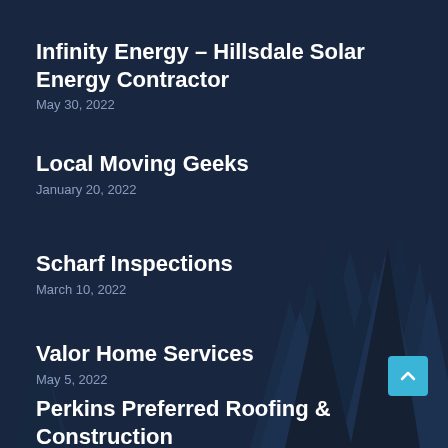[Figure (illustration): Dark navy blue background with silhouetted pine/fir trees in the lower right portion of the image. The sky is a deep navy with subtle texture.]
Infinity Energy – Hillsdale Solar Energy Contractor
May 30, 2022
Local Moving Geeks
January 20, 2022
Scharf Inspections
March 10, 2022
Valor Home Services
May 5, 2022
Perkins Preferred Roofing & Construction
May 10, 2022